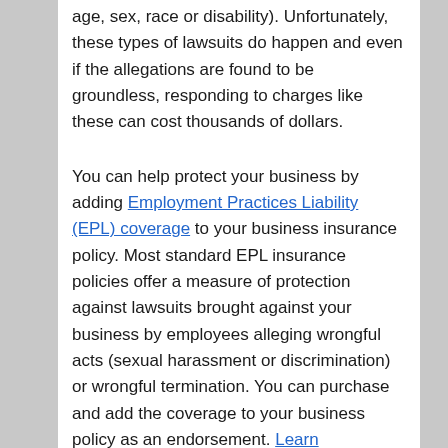age, sex, race or disability). Unfortunately, these types of lawsuits do happen and even if the allegations are found to be groundless, responding to charges like these can cost thousands of dollars.
You can help protect your business by adding Employment Practices Liability (EPL) coverage to your business insurance policy. Most standard EPL insurance policies offer a measure of protection against lawsuits brought against your business by employees alleging wrongful acts (sexual harassment or discrimination) or wrongful termination. You can purchase and add the coverage to your business policy as an endorsement. Learn